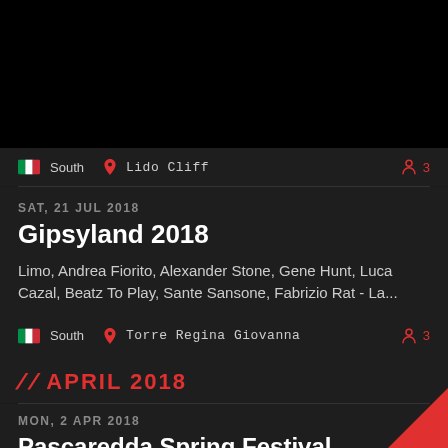[Figure (other): Black top banner area]
South   Lido Cliff   3
SAT, 21 JUL 2018
Gipsyland 2018
Limo, Andrea Fiorito, Alexander Stone, Gene Hunt, Luca Cazal, Beatz To Play, Sante Sansone, Fabrizio Rat - La...
South   Torre Regina Giovanna   3
APRIL 2018
MON, 2 APR 2018
Pascaredda Spring Festival